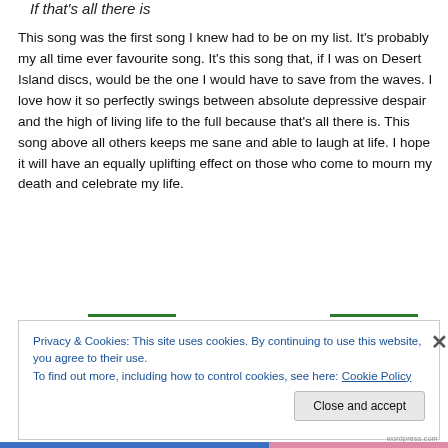If that's all there is
This song was the first song I knew had to be on my list. It's probably my all time ever favourite song. It's this song that, if I was on Desert Island discs, would be the one I would have to save from the waves. I love how it so perfectly swings between absolute depressive despair and the high of living life to the full because that's all there is. This song above all others keeps me sane and able to laugh at life. I hope it will have an equally uplifting effect on those who come to mourn my death and celebrate my life.
Privacy & Cookies: This site uses cookies. By continuing to use this website, you agree to their use.
To find out more, including how to control cookies, see here: Cookie Policy